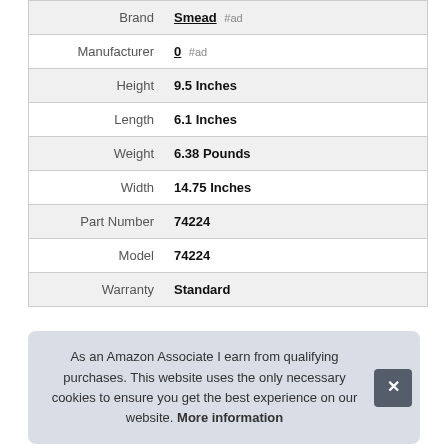| Attribute | Value |
| --- | --- |
| Brand | Smead #ad |
| Manufacturer | 0 #ad |
| Height | 9.5 Inches |
| Length | 6.1 Inches |
| Weight | 6.38 Pounds |
| Width | 14.75 Inches |
| Part Number | 74224 |
| Model | 74224 |
| Warranty | Standard |
As an Amazon Associate I earn from qualifying purchases. This website uses the only necessary cookies to ensure you get the best experience on our website. More information